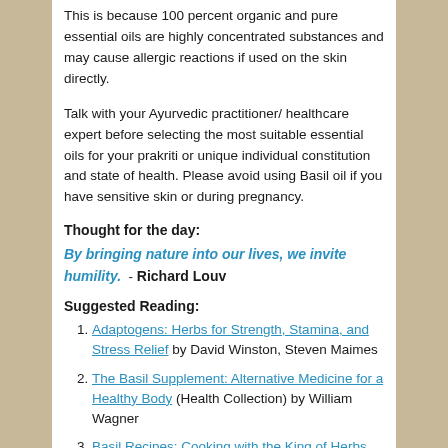This is because 100 percent organic and pure essential oils are highly concentrated substances and may cause allergic reactions if used on the skin directly.
Talk with your Ayurvedic practitioner/ healthcare expert before selecting the most suitable essential oils for your prakriti or unique individual constitution and state of health. Please avoid using Basil oil if you have sensitive skin or during pregnancy.
Thought for the day:
By bringing nature into our lives, we invite humility.  - Richard Louv
Suggested Reading:
Adaptogens: Herbs for Strength, Stamina, and Stress Relief by David Winston, Steven Maimes
The Basil Supplement: Alternative Medicine for a Healthy Body (Health Collection) by William Wagner
Basil Recipes: Cooking with the King of Herbs